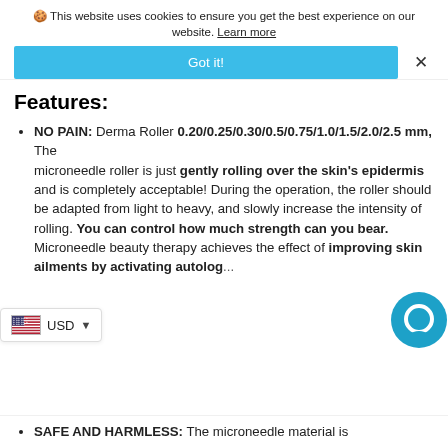🍪 This website uses cookies to ensure you get the best experience on our website. Learn more
Got it!
Features:
NO PAIN: Derma Roller 0.20/0.25/0.30/0.5/0.75/1.0/1.5/2.0/2.5 mm, The microneedle roller is just gently rolling over the skin's epidermis and is completely acceptable! During the operation, the roller should be adapted from light to heavy, and slowly increase the intensity of rolling. You can control how much strength can you bear. Microneedle beauty therapy achieves the effect of improving skin ailments by activating autolog...
SAFE AND HARMLESS: The microneedle material is